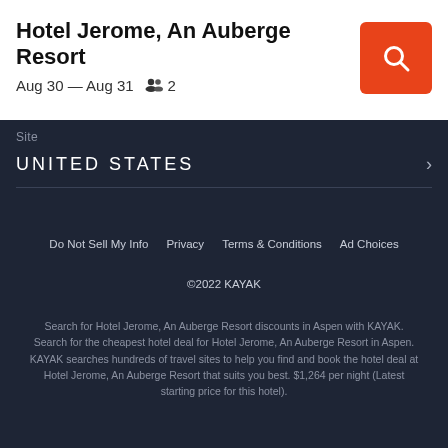Hotel Jerome, An Auberge Resort
Aug 30 — Aug 31   👥 2
Site
UNITED STATES
Do Not Sell My Info   Privacy   Terms & Conditions   Ad Choices
©2022 KAYAK
Search for Hotel Jerome, An Auberge Resort discounts in Aspen with KAYAK. Search for the cheapest hotel deal for Hotel Jerome, An Auberge Resort in Aspen. KAYAK searches hundreds of travel sites to help you find and book the hotel deal at Hotel Jerome, An Auberge Resort that suits you best. $1,264 per night (Latest starting price for this hotel).